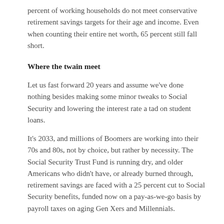percent of working households do not meet conservative retirement savings targets for their age and income. Even when counting their entire net worth, 65 percent still fall short.
Where the twain meet
Let us fast forward 20 years and assume we've done nothing besides making some minor tweaks to Social Security and lowering the interest rate a tad on student loans.
It's 2033, and millions of Boomers are working into their 70s and 80s, not by choice, but rather by necessity. The Social Security Trust Fund is running dry, and older Americans who didn't have, or already burned through, retirement savings are faced with a 25 percent cut to Social Security benefits, funded now on a pay-as-we-go basis by payroll taxes on aging Gen Xers and Millennials.
These younger folks, by the way, are struggling to pay off student loans that are not dischargeable in a bankruptcy proceeding. For many, their finances have required them to make some hard decisions, such as having fewer or no kids.